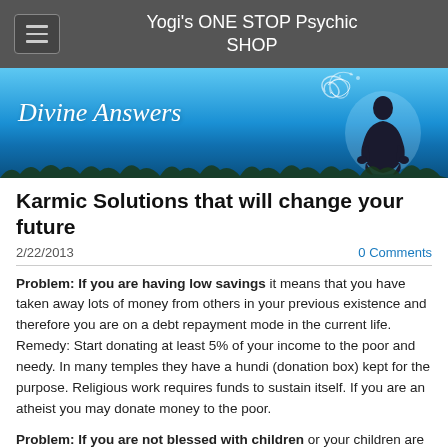Yogi's ONE STOP Psychic SHOP
[Figure (illustration): Blue banner with silhouette of a person meditating in lotus position on the right, decorative swirl design, and script text 'Divine Answers' on the left, over a gradient blue sky with grass silhouette at the bottom.]
Karmic Solutions that will change your future
2/22/2013
0 Comments
Problem: If you are having low savings it means that you have taken away lots of money from others in your previous existence and therefore you are on a debt repayment mode in the current life. Remedy: Start donating at least 5% of your income to the poor and needy. In many temples they have a hundi (donation box) kept for the purpose. Religious work requires funds to sustain itself. If you are an atheist you may donate money to the poor.
Problem: If you are not blessed with children or your children are